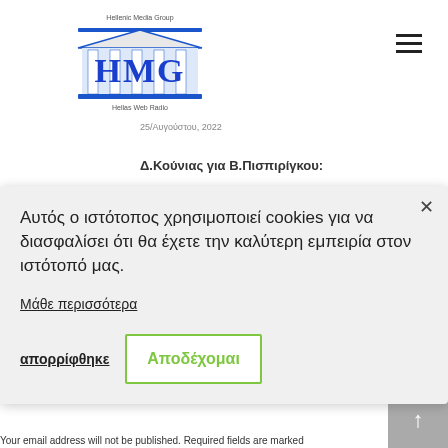[Figure (logo): Hellenic Media Group (HMG) logo with columns graphic and 'Hellas Web Radio' text below]
25/Αυγούστου, 2022
Δ.Κούνιας για Β.Πισπιρίγκου:
Αυτός ο ιστότοπος χρησιμοποιεί cookies για να διασφαλίσει ότι θα έχετε την καλύτερη εμπειρία στον ιστότοπό μας.
Μάθε περισσότερα
απορρίφθηκε
Αποδέχομαι
Your email address will not be published. Required fields are marked